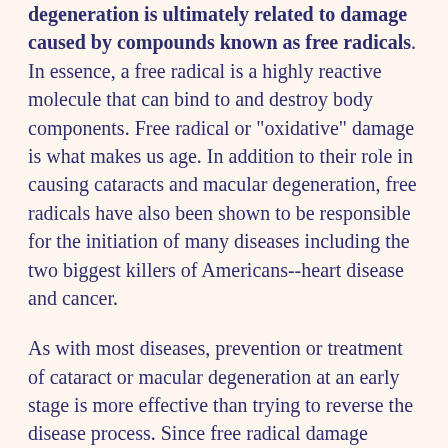degeneration is ultimately related to damage caused by compounds known as free radicals. In essence, a free radical is a highly reactive molecule that can bind to and destroy body components. Free radical or "oxidative" damage is what makes us age. In addition to their role in causing cataracts and macular degeneration, free radicals have also been shown to be responsible for the initiation of many diseases including the two biggest killers of Americans--heart disease and cancer.
As with most diseases, prevention or treatment of cataract or macular degeneration at an early stage is more effective than trying to reverse the disease process. Since free radical damage appears to be the primary factor, individuals with cataracts should avoid direct sunlight, bright light, and wear protective lenses (sunglasses) when outdoors. In addition, individuals with either cataracts or macular degeneration should also greatly increase intake of dietary